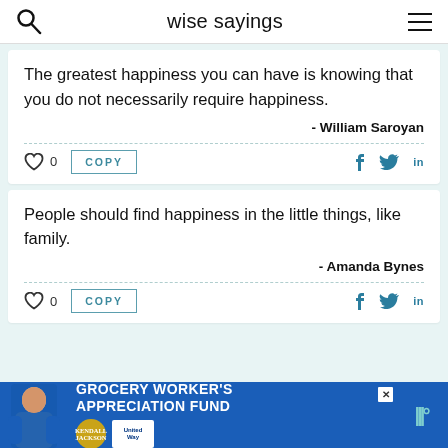wise sayings
The greatest happiness you can have is knowing that you do not necessarily require happiness.
- William Saroyan
People should find happiness in the little things, like family.
- Amanda Bynes
[Figure (other): Advertisement banner: GROCERY WORKER'S APPRECIATION FUND with Kendall-Jackson and United Way logos]